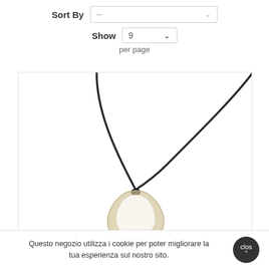Sort By  --
Show  9  per page
[Figure (photo): A necklace with a dark leather cord and a translucent glass or crystal pendant in an organic curved shape, shown against a white background.]
Questo negozio utilizza i cookie per poter migliorare la tua esperienza sul nostro sito.